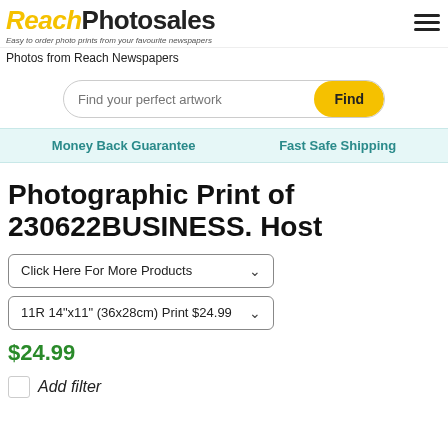[Figure (logo): ReachPhotosales logo with yellow italic 'Reach' and black 'Photosales' text, tagline: Easy to order photo prints from your favourite newspapers]
Photos from Reach Newspapers
Find your perfect artwork
Money Back Guarantee
Fast Safe Shipping
Photographic Print of 230622BUSINESS. Host
Click Here For More Products
11R 14"x11" (36x28cm) Print $24.99
$24.99
Add filter